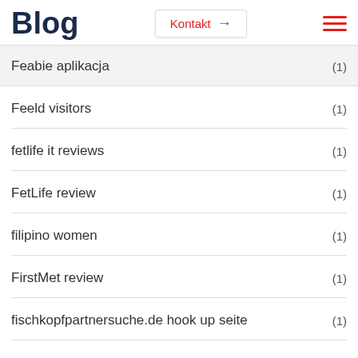Blog  Kontakt →
Feabie aplikacja (1)
Feeld visitors (1)
fetlife it reviews (1)
FetLife review (1)
filipino women (1)
FirstMet review (1)
fischkopfpartnersuche.de hook up seite (1)